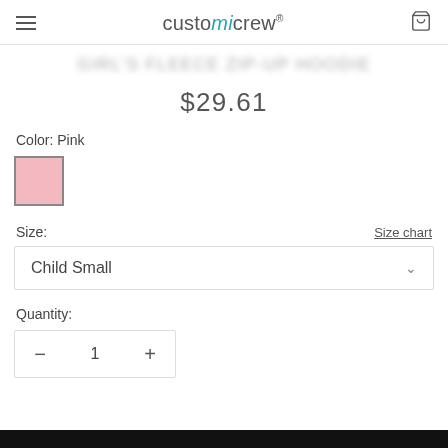customicrew®
$29.61
Color: Pink
[Figure (other): Pink color swatch square]
Size:
Size chart
Child Small
Quantity:
— 1 +